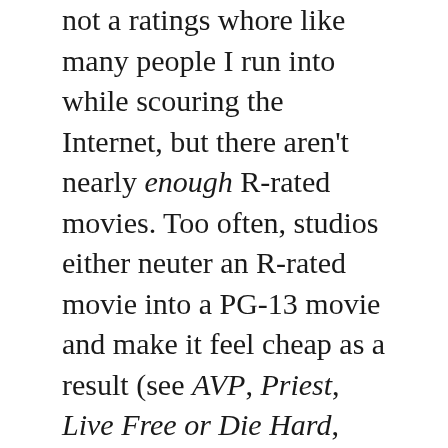not a ratings whore like many people I run into while scouring the Internet, but there aren't nearly enough R-rated movies. Too often, studios either neuter an R-rated movie into a PG-13 movie and make it feel cheap as a result (see AVP, Priest, Live Free or Die Hard, and I imagine World War Z will end up like this as well), or they'll just refuse to greenlight it at all (the Halo movie apparently). Honestly, ticket sales are down, in part because of piracy, but mainly because of ridiculous ticket prices and a lack of good movies to see. Personally, I'll go see any movie in theaters that catches my fancy... but in the last 4 months, the only movie that's caught my interest was Evil Dead. That's a pretty terrible record. Hollywood needs to stop cramming all their movies into the summer season, stop playing it so damn conservatively and give theater chains their